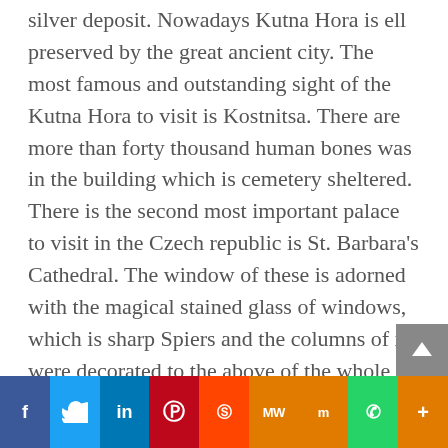silver deposit. Nowadays Kutna Hora is ell preserved by the great ancient city. The most famous and outstanding sight of the Kutna Hora to visit is Kostnitsa. There are more than forty thousand human bones was in the building which is cemetery sheltered. There is the second most important palace to visit in the Czech republic is St. Barbara's Cathedral. The window of these is adorned with the magical stained glass of windows, which is sharp Spiers and the columns of its were decorated to the above of the whole city.
2. Cesky Krumlov
f | Twitter | in | P | Reddit | MW | Mix | WhatsApp | More